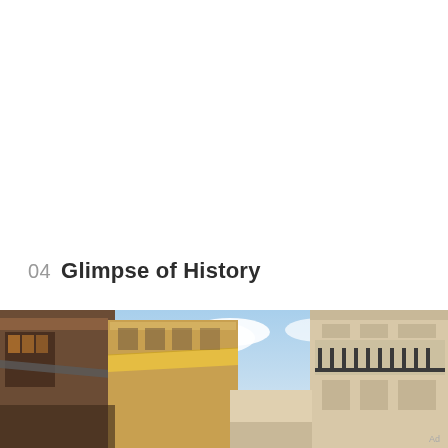04  Glimpse of History
[Figure (photo): Street-level view looking up between historic European-style buildings with balconies, awnings, and decorative ironwork against a partly cloudy blue sky.]